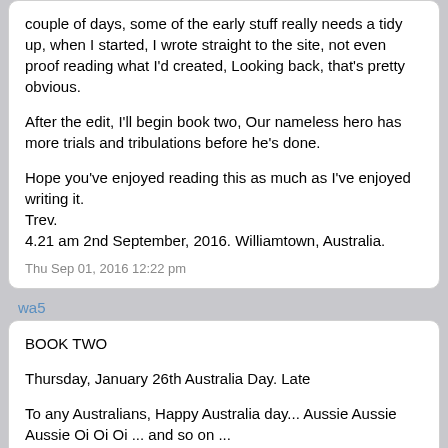couple of days, some of the early stuff really needs a tidy up, when I started, I wrote straight to the site, not even proof reading what I'd created, Looking back, that's pretty obvious.

After the edit, I'll begin book two, Our nameless hero has more trials and tribulations before he's done.

Hope you've enjoyed reading this as much as I've enjoyed writing it.
Trev.
4.21 am 2nd September, 2016. Williamtown, Australia.
Thu Sep 01, 2016 12:22 pm
wa5
BOOK TWO

Thursday, January 26th Australia Day. Late

To any Australians, Happy Australia day... Aussie Aussie Aussie Oi Oi Oi ... and so on ...

What a hectic and exciting few days